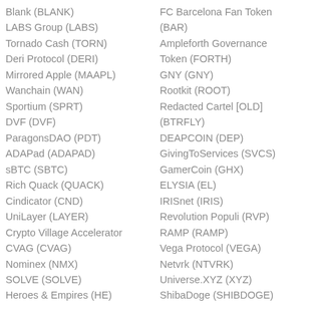Blank (BLANK)
LABS Group (LABS)
Tornado Cash (TORN)
Deri Protocol (DERI)
Mirrored Apple (MAAPL)
Wanchain (WAN)
Sportium (SPRT)
DVF (DVF)
ParagonsDAO (PDT)
ADAPad (ADAPAD)
sBTC (SBTC)
Rich Quack (QUACK)
Cindicator (CND)
UniLayer (LAYER)
Crypto Village Accelerator CVAG (CVAG)
Nominex (NMX)
SOLVE (SOLVE)
Heroes & Empires (HE)
FC Barcelona Fan Token (BAR)
Ampleforth Governance Token (FORTH)
GNY (GNY)
Rootkit (ROOT)
Redacted Cartel [OLD] (BTRFLY)
DEAPCOIN (DEP)
GivingToServices (SVCS)
GamerCoin (GHX)
ELYSIA (EL)
IRISnet (IRIS)
Revolution Populi (RVP)
RAMP (RAMP)
Vega Protocol (VEGA)
Netvrk (NTVRK)
Universe.XYZ (XYZ)
ShibaDoge (SHIBDOGE)